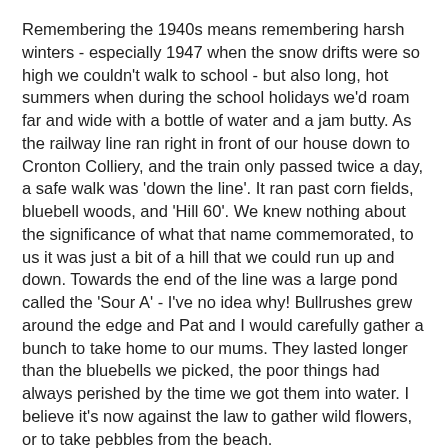Remembering the 1940s means remembering harsh winters - especially 1947 when the snow drifts were so high we couldn't walk to school - but also long, hot summers when during the school holidays we'd roam far and wide with a bottle of water and a jam butty. As the railway line ran right in front of our house down to Cronton Colliery, and the train only passed twice a day, a safe walk was 'down the line'. It ran past corn fields, bluebell woods, and 'Hill 60'. We knew nothing about the significance of what that name commemorated, to us it was just a bit of a hill that we could run up and down. Towards the end of the line was a large pond called the 'Sour A' - I've no idea why! Bullrushes grew around the edge and Pat and I would carefully gather a bunch to take home to our mums. They lasted longer than the bluebells we picked, the poor things had always perished by the time we got them into water. I believe it's now against the law to gather wild flowers, or to take pebbles from the beach.
There are many other memories of the 1940s, being in the Brownies - I still have my metal Brownie badge; wearing fancy dress klimp and the school play with the...